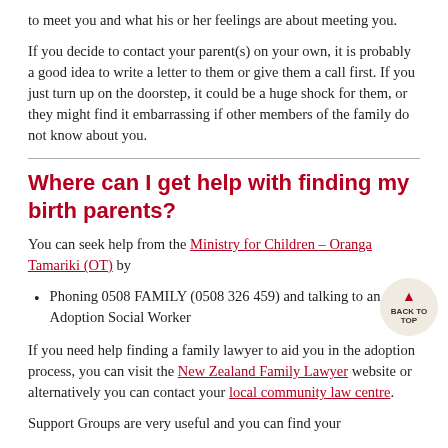to meet you and what his or her feelings are about meeting you.
If you decide to contact your parent(s) on your own, it is probably a good idea to write a letter to them or give them a call first. If you just turn up on the doorstep, it could be a huge shock for them, or they might find it embarrassing if other members of the family do not know about you.
Where can I get help with finding my birth parents?
You can seek help from the Ministry for Children – Oranga Tamariki (OT) by
Phoning 0508 FAMILY (0508 326 459) and talking to an Adoption Social Worker
If you need help finding a family lawyer to aid you in the adoption process, you can visit the New Zealand Family Lawyer website or alternatively you can contact your local community law centre.
Support Groups are very useful and you can find your